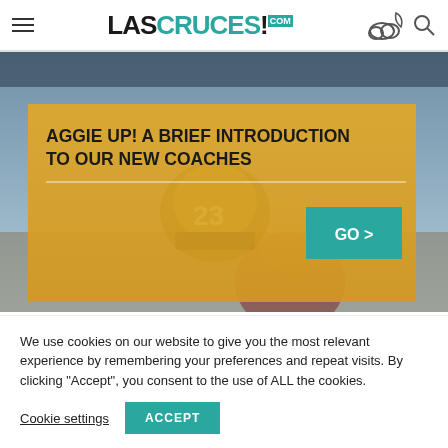LASCRUCES!.com
[Figure (photo): Football player wearing red and gold helmet and jersey, blurred background of a sports facility. A gold overlay banner contains the headline 'AGGIE UP! A BRIEF INTRODUCTION TO OUR NEW COACHES' with a teal 'GO >' button.]
AGGIE UP! A BRIEF INTRODUCTION TO OUR NEW COACHES
We use cookies on our website to give you the most relevant experience by remembering your preferences and repeat visits. By clicking “Accept”, you consent to the use of ALL the cookies.
Cookie settings  ACCEPT